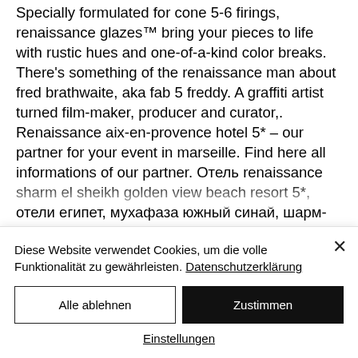Specially formulated for cone 5-6 firings, renaissance glazes™ bring your pieces to life with rustic hues and one-of-a-kind color breaks. There's something of the renaissance man about fred brathwaite, aka fab 5 freddy. A graffiti artist turned film-maker, producer and curator,. Renaissance aix-en-provence hotel 5* – our partner for your event in marseille. Find here all informations of our partner. Отель renaissance sharm el sheikh golden view beach resort 5*, отели египет, мухафаза южный синай, шарм-эль-шейх, весим эль-шейх, нэш...
Diese Website verwendet Cookies, um die volle Funktionalität zu gewährleisten. Datenschutzerklärung
Alle ablehnen
Zustimmen
Einstellungen